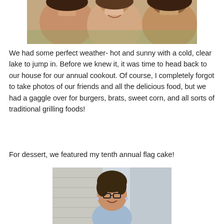[Figure (photo): Photo of three smiling people, cropped at the top of the page]
We had some perfect weather- hot and sunny with a cold, clear lake to jump in. Before we knew it, it was time to head back to our house for our annual cookout. Of course, I completely forgot to take photos of our friends and all the delicious food, but we had a gaggle over for burgers, brats, sweet corn, and all sorts of traditional grilling foods!
For dessert, we featured my tenth annual flag cake!
[Figure (photo): Photo of a smiling woman with glasses and dark curly hair outdoors]